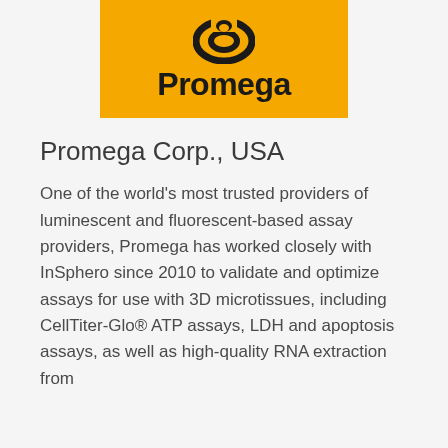[Figure (logo): Promega corporation logo: yellow/orange background rectangle with a circular ring mark above and the word 'Promega' in bold black text below]
Promega Corp., USA
One of the world's most trusted providers of luminescent and fluorescent-based assay providers, Promega has worked closely with InSphero since 2010 to validate and optimize assays for use with 3D microtissues, including CellTiter-Glo® ATP assays, LDH and apoptosis assays, as well as high-quality RNA extraction from